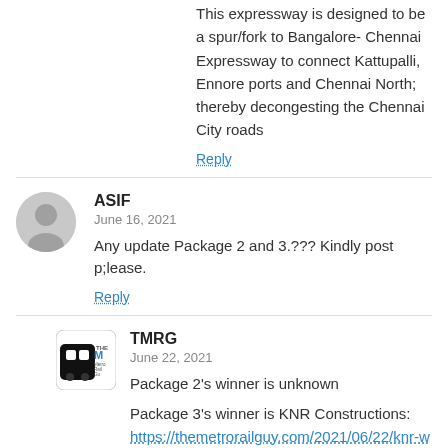This expressway is designed to be a spur/fork to Bangalore- Chennai Expressway to connect Kattupalli, Ennore ports and Chennai North; thereby decongesting the Chennai City roads
Reply
ASIF
June 16, 2021
Any update Package 2 and 3.??? Kindly post p;lease.
Reply
TMRG
June 22, 2021
Package 2's winner is unknown
Package 3's winner is KNR Constructions: https://themetrorailguy.com/2021/06/22/knr-wins-chittoor-thatchur-expressways-package-3/
Reply